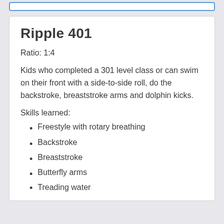Ripple 401
Ratio: 1:4
Kids who completed a 301 level class or can swim on their front with a side-to-side roll, do the backstroke, breaststroke arms and dolphin kicks.
Skills learned:
Freestyle with rotary breathing
Backstroke
Breaststroke
Butterfly arms
Treading water